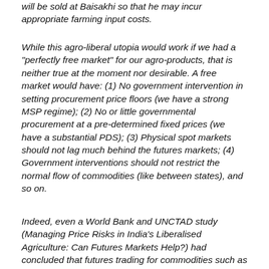will be sold at Baisakhi so that he may incur appropriate farming input costs.
While this agro-liberal utopia would work if we had a "perfectly free market" for our agro-products, that is neither true at the moment nor desirable. A free market would have: (1) No government intervention in setting procurement price floors (we have a strong MSP regime); (2) No or little governmental procurement at a pre-determined fixed prices (we have a substantial PDS); (3) Physical spot markets should not lag much behind the futures markets; (4) Government interventions should not restrict the normal flow of commodities (like between states), and so on.
Indeed, even a World Bank and UNCTAD study (Managing Price Risks in India's Liberalised Agriculture: Can Futures Markets Help?) had concluded that futures trading for commodities such as sugar, non-basmati rice and wheat are "non-viable" in India unless some of the market